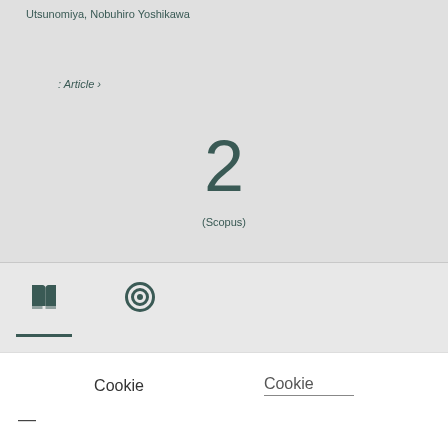Utsunomiya, Nobuhiro Yoshikawa
: Article ›
2
(Scopus)
[Figure (screenshot): Navigation tab icons: open book icon (active, with underline) and a spiral/pinwheel icon]
Cookie
Cookie